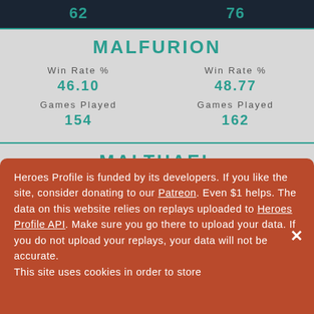62    76
MALFURION
Win Rate %
46.10
Games Played
154
Win Rate %
48.77
Games Played
162
MALTHAEL
Win Rate %
45.71
Win Rate %
48.45
Heroes Profile is funded by its developers. If you like the site, consider donating to our Patreon. Even $1 helps. The data on this website relies on replays uploaded to Heroes Profile API. Make sure you go there to upload your data. If you do not upload your replays, your data will not be accurate.
This site uses cookies in order to store